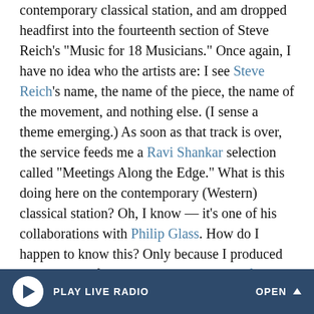contemporary classical station, and am dropped headfirst into the fourteenth section of Steve Reich's "Music for 18 Musicians." Once again, I have no idea who the artists are: I see Steve Reich's name, the name of the piece, the name of the movement, and nothing else. (I sense a theme emerging.) As soon as that track is over, the service feeds me a Ravi Shankar selection called "Meetings Along the Edge." What is this doing here on the contemporary (Western) classical station? Oh, I know — it's one of his collaborations with Philip Glass. How do I happen to know this? Only because I produced the reissues of their work together myself. Otherwise, it would be a complete mystery — there's no mention of Philip Glass anywhere on the page.

Next up, I get a track from a Chanticleer Christmas album.
PLAY LIVE RADIO  OPEN